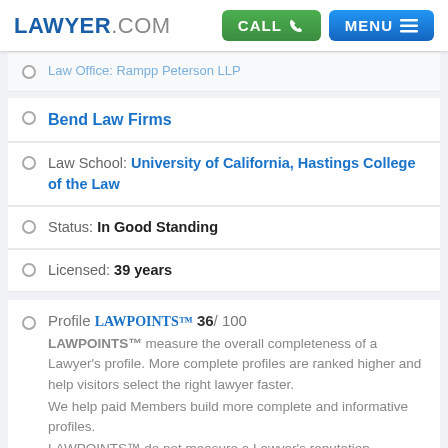LAWYER.COM  CALL  MENU
Law Office: Rampp Peterson LLP
Bend Law Firms
Law School: University of California, Hastings College of the Law
Status: In Good Standing
Licensed: 39 years
Profile LAWPOINTS™ 36/ 100
LAWPOINTS™ measure the overall completeness of a Lawyer's profile. More complete profiles are ranked higher and help visitors select the right lawyer faster.
We help paid Members build more complete and informative profiles.
LAWPOINTS™ do not measure a Lawyer's reputation.
More Info for Lawyers